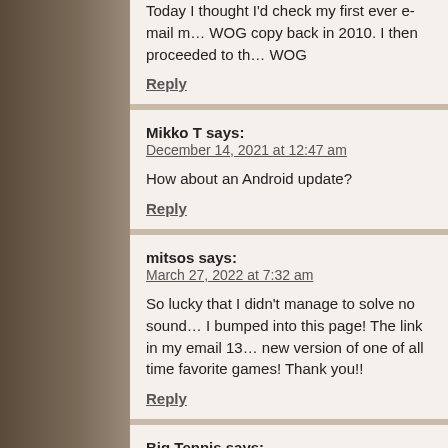Today I thought I'd check my first ever e-mail m... WOG copy back in 2010. I then proceeded to th... WOG
Reply
Mikko T says:
December 14, 2021 at 12:47 am

How about an Android update?

Reply
mitsos says:
March 27, 2022 at 7:32 am

So lucky that I didn't manage to solve no sound... I bumped into this page! The link in my email 13... new version of one of all time favorite games! Thank you!!

Reply
Big Tennis says:
April 2, 2022 at 9:40 am

Kyle, please release the beta seen in this video... I want to play it!